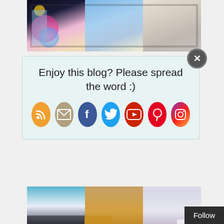[Figure (photo): Top portion of fashion photo strip showing three outfits: colorful embroidered jacket, light blue outfit, and white quilted jacket]
[Figure (infographic): Popup overlay with social sharing prompt and social media icon buttons: RSS, Email, Facebook, Twitter, YouTube, Pinterest, Instagram]
Enjoy this blog? Please spread the word :)
[Figure (photo): Bottom portion of fashion photo strip showing shoes: black and white wedge shoes, gold metallic shoes, and white shoes]
All images courtesy of Tsumori Chisato via Vogue.com.
Pretty Cripple is partnering with LeSportsac to introduce their newest designer collaboration.
The GIVEAWAY includes a wallet, cosmetic bag, and an accessory c